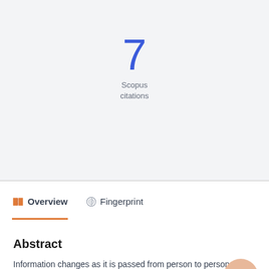[Figure (infographic): Scopus citations count showing the number 7 in large blue font with 'Scopus citations' label below]
Overview   Fingerprint
Abstract
Information changes as it is passed from person to person, with this process faulted to occurring gradually during the period of